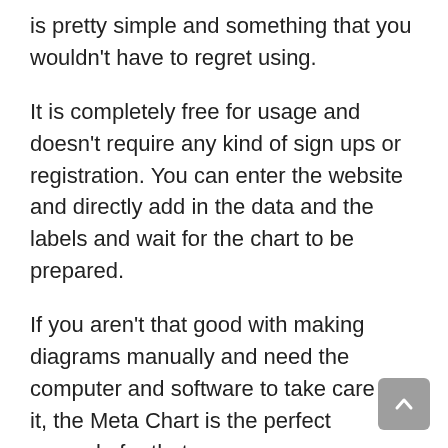is pretty simple and something that you wouldn't have to regret using.
It is completely free for usage and doesn't require any kind of sign ups or registration. You can enter the website and directly add in the data and the labels and wait for the chart to be prepared.
If you aren't that good with making diagrams manually and need the computer and software to take care of it, the Meta Chart is the perfect example for that.
The best thing about this online Venn diagram maker is the fact that it has a very easy